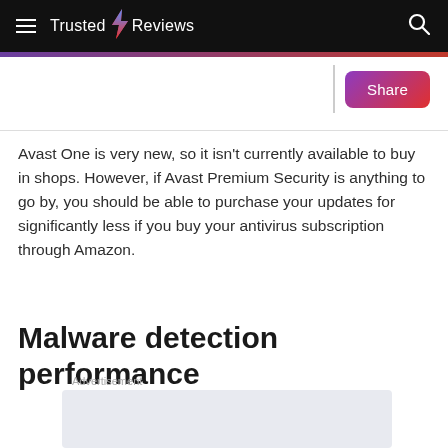Trusted Reviews
Avast One is very new, so it isn't currently available to buy in shops. However, if Avast Premium Security is anything to go by, you should be able to purchase your updates for significantly less if you buy your antivirus subscription through Amazon.
Malware detection performance
Advertisement